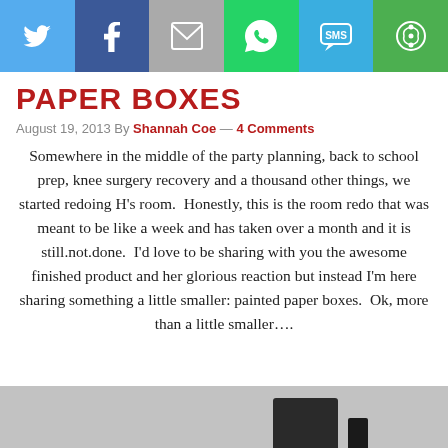[Figure (infographic): Social sharing bar with icons: Twitter (blue), Facebook (dark blue), Email (grey), WhatsApp (green), SMS (light blue), Share/Other (dark green)]
PAPER BOXES
August 19, 2013 By Shannah Coe — 4 Comments
Somewhere in the middle of the party planning, back to school prep, knee surgery recovery and a thousand other things, we started redoing H's room.  Honestly, this is the room redo that was meant to be like a week and has taken over a month and it is still.not.done.  I'd love to be sharing with you the awesome finished product and her glorious reaction but instead I'm here sharing something a little smaller: painted paper boxes.  Ok, more than a little smaller….
[Figure (photo): Partial photo at bottom of page showing a grey background with a dark object partially visible]